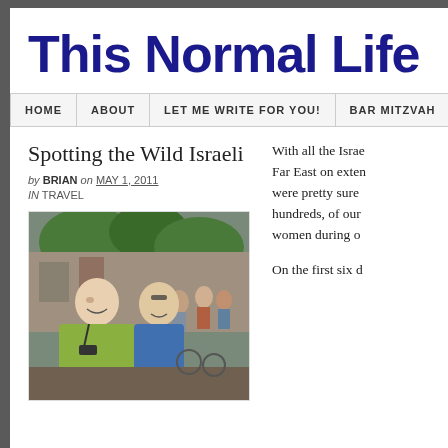This Normal Life
HOME   ABOUT   LET ME WRITE FOR YOU!   BAR MITZVAH
Spotting the Wild Israeli
by BRIAN on MAY 1, 2011
in TRAVEL
[Figure (photo): Two men smiling at the camera outdoors in a crowded street or market area, both wearing outdoor/travel gear. One older man in a yellow-green jacket with binoculars, one younger man in a blue shirt.]
With all the Israe... Far East on exten... were pretty sure ... hundreds, of our ... women during o...
On the first six d...